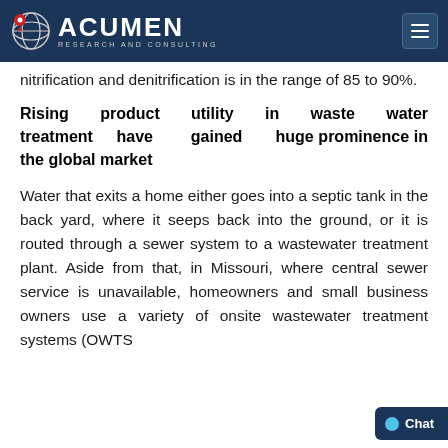Acumen Research and Consulting
nitrification and denitrification is in the range of 85 to 90%.
Rising product utility in waste water treatment have gained huge prominence in the global market
Water that exits a home either goes into a septic tank in the back yard, where it seeps back into the ground, or it is routed through a sewer system to a wastewater treatment plant. Aside from that, in Missouri, where central sewer service is unavailable, homeowners and small business owners use a variety of onsite wastewater treatment systems (OWTS